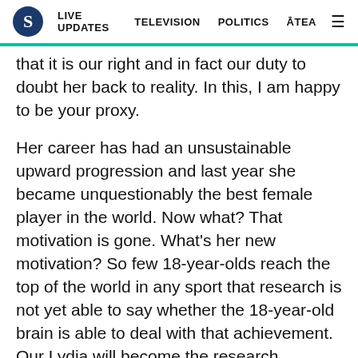S  LIVE UPDATES  TELEVISION  POLITICS  ĀTEA  ≡
that it is our right and in fact our duty to doubt her back to reality. In this, I am happy to be your proxy.
Her career has had an unsustainable upward progression and last year she became unquestionably the best female player in the world. Now what? That motivation is gone. What's her new motivation? So few 18-year-olds reach the top of the world in any sport that research is not yet able to say whether the 18-year-old brain is able to deal with that achievement. Our Lydia will become the research.
B[share icon]een, it should be remembered, is the age when Danny Lee, then a child prodigy himself, first